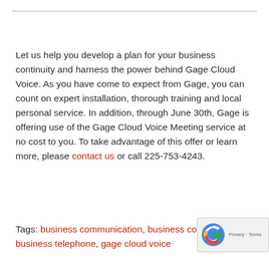Let us help you develop a plan for your business continuity and harness the power behind Gage Cloud Voice. As you have come to expect from Gage, you can count on expert installation, thorough training and local personal service. In addition, through June 30th, Gage is offering use of the Gage Cloud Voice Meeting service at no cost to you. To take advantage of this offer or learn more, please contact us or call 225-753-4243.
Tags: business communication, business continuity, business telephone, gage cloud voice